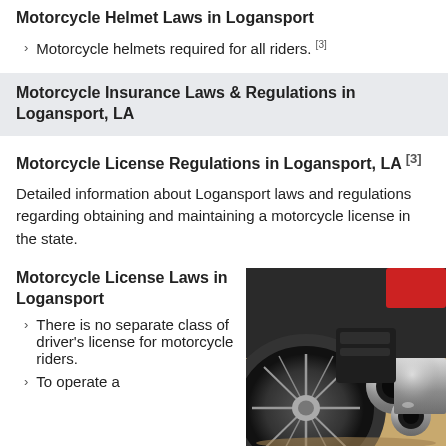Motorcycle Helmet Laws in Logansport
Motorcycle helmets required for all riders. [3]
Motorcycle Insurance Laws & Regulations in Logansport, LA
Motorcycle License Regulations in Logansport, LA [3]
Detailed information about Logansport laws and regulations regarding obtaining and maintaining a motorcycle license in the state.
Motorcycle License Laws in Logansport
There is no separate class of driver's license for motorcycle riders.
To operate a
[Figure (photo): Close-up photo of a motorcycle exhaust pipe and rear wheel with chrome finish]